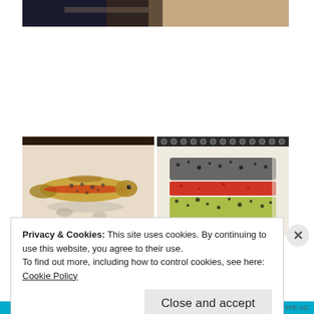[Figure (photo): Partial top photo — dark background, showing edge of a tan/beige surface, partially cut off at top of page]
[Figure (photo): Left: photo of a rainbow trout or similar fish drawn on paper — colorful fish with red stripe, yellow and spotted body, viewed from above on a paper surface]
[Figure (photo): Right: photo of a spiral-bound sketchbook showing a close-up drawing of fish scales/body — gray, red stripe, yellow-green with black dots]
Privacy & Cookies: This site uses cookies. By continuing to use this website, you agree to their use.
To find out more, including how to control cookies, see here:
Cookie Policy
Close and accept